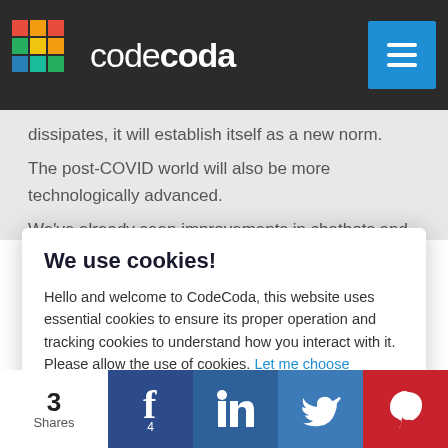codecoda
dissipates, it will establish itself as a new norm.
The post-COVID world will also be more technologically advanced.
We've already seen improvements in chatbots and customer support
We use cookies!
Hello and welcome to CodeCoda, this website uses essential cookies to ensure its proper operation and tracking cookies to understand how you interact with it. Please allow the use of cookies. Let me choose
Accept all
Reject all
3 Shares  4